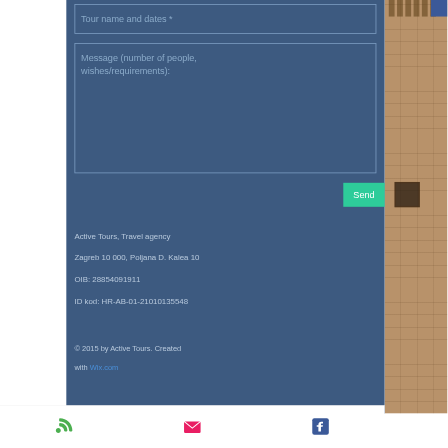[Figure (screenshot): Web contact form with 'Tour name and dates *' input field on dark blue background]
[Figure (screenshot): Message textarea with placeholder 'Message (number of people, wishes/requirements):']
[Figure (screenshot): Green 'Send' button]
Active Tours, Travel agency
Zagreb 10 000, Poljana D. Kalea 10
OIB: 28854091911
ID kod: HR-AB-01-21010135548
© 2015 by Active Tours. Created with Wix.com
[Figure (screenshot): Bottom bar with phone, email, and Facebook icons]
[Figure (photo): Stone castle wall photograph on the right side]